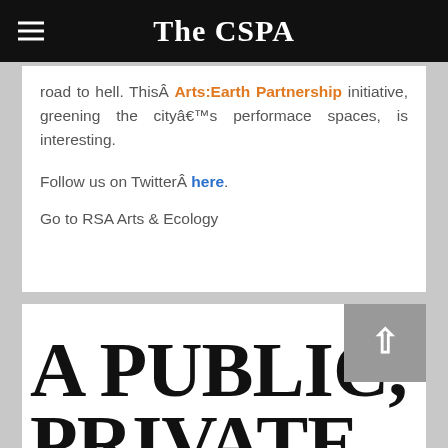The CSPA
road to hell. ThisÂ Arts:Earth Partnership initiative, greening the cityâ€™s performace spaces, is interesting.
Follow us on TwitterÂ here.
Go to RSA Arts & Ecology
A PUBLIC, PRIVATE, PLANETAR